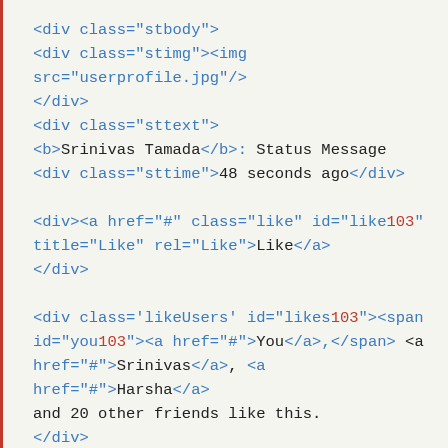<div class="stbody">
<div class="stimg"><img src="userprofile.jpg"/>
</div>
<div class="sttext">
<b>Srinivas Tamada</b>: Status Message
<div class="sttime">48 seconds ago</div>

<div><a href="#" class="like" id="like103"
title="Like" rel="Like">Like</a>
</div>

<div class='likeUsers' id="likes103"><span
id="you103"><a href="#">You</a>,</span> <a
href="#">Srinivas</a>, <a href="#">Harsha</a>
and 20 other friends like this.
</div>

</div>
</div>